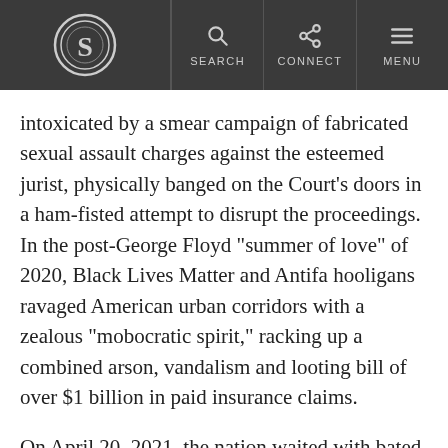S [logo] | SEARCH | CONNECT | MENU
intoxicated by a smear campaign of fabricated sexual assault charges against the esteemed jurist, physically banged on the Court’s doors in a ham-fisted attempt to disrupt the proceedings. In the post-George Floyd “summer of love” of 2020, Black Lives Matter and Antifa hooligans ravaged American urban corridors with a zealous “mobocratic spirit,” racking up a combined arson, vandalism and looting bill of over $1 billion in paid insurance claims.
On April 20, 2021, the nation waited with bated breath to see if Derek Chauvin, the disgraced Minneapolis cop, would be found guilty of the murder of George Floyd. He was, and deservedly so—but one still